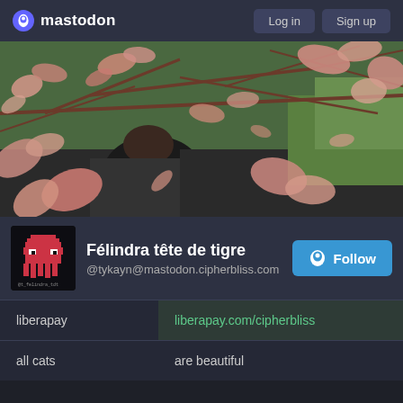mastodon   Log in   Sign up
[Figure (photo): Cover photo showing a person partially hidden behind pink/salmon-colored maple tree branches, with a green background and car visible]
Félindra tête de tigre
@tykayn@mastodon.cipherbliss.com
| field | value |
| --- | --- |
| liberapay | liberapay.com/cipherbliss |
| all cats | are beautiful |